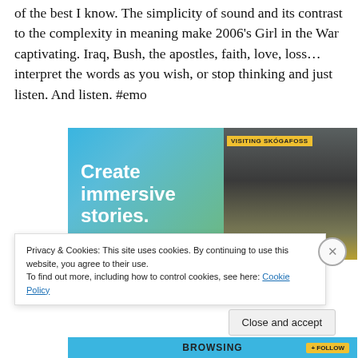of the best I know. The simplicity of sound and its contrast to the complexity in meaning make 2006’s Girl in the War captivating. Iraq, Bush, the apostles, faith, love, loss… interpret the words as you wish, or stop thinking and just listen. And listen. #emo
[Figure (illustration): Advertisement: 'Create immersive stories.' with photo of waterfall and person in yellow jacket. Label: VISITING SKÓGAFOSS]
Privacy & Cookies: This site uses cookies. By continuing to use this website, you agree to their use.
To find out more, including how to control cookies, see here: Cookie Policy
Close and accept